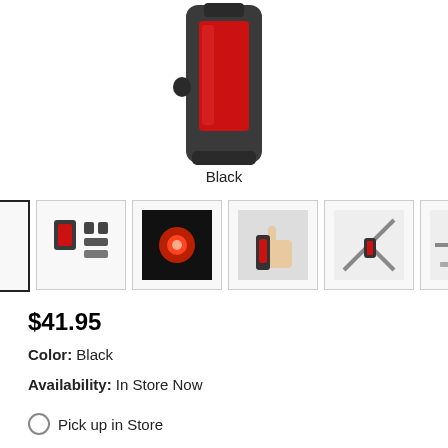[Figure (photo): Bicycle rear light product photo — black casing with red LED panel, shown from front, upper portion cropped]
Black
[Figure (photo): Row of 6 product thumbnail images for a bicycle rear light: (1) front view of light selected/highlighted, (2) components/parts layout, (3) light glowing red, (4) hand holding light, (5) light mounted on bicycle frame, (6) light mounted on bicycle handlebar area]
$41.95
Color:  Black
Availability:  In Store Now
Pick up in Store